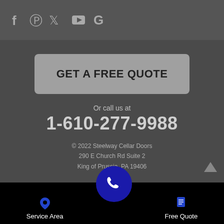[Figure (other): Social media icons: Facebook, Pinterest, Twitter, YouTube, Google]
GET A FREE QUOTE
Or call us at
1-610-277-9988
© 2022 Steelway Cellar Doors
290 E Church Rd Suite 2
King of Prussia, PA 19406
Service Area  Free Quote